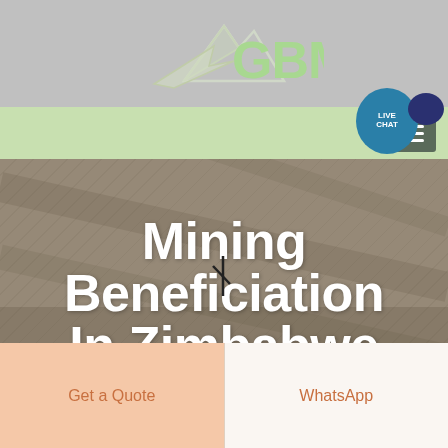[Figure (logo): GBM logo with mountain/arrow graphic and green GBM text]
[Figure (screenshot): Live chat bubble icon in teal and dark navy blue]
[Figure (photo): Background photo of mining/quarry site, muted gray-brown tones with diagonal texture]
Mining Beneficiation In Zimbabwe
Get a Quote
WhatsApp